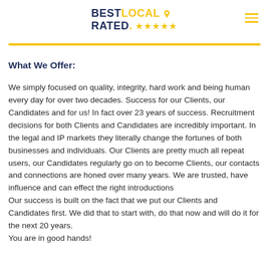BEST LOCAL RATED. ★★★★★
What We Offer:
We simply focused on quality, integrity, hard work and being human every day for over two decades. Success for our Clients, our Candidates and for us! In fact over 23 years of success. Recruitment decisions for both Clients and Candidates are incredibly important. In the legal and IP markets they literally change the fortunes of both businesses and individuals. Our Clients are pretty much all repeat users, our Candidates regularly go on to become Clients, our contacts and connections are honed over many years. We are trusted, have influence and can effect the right introductions
Our success is built on the fact that we put our Clients and Candidates first. We did that to start with, do that now and will do it for the next 20 years. You are in good hands!